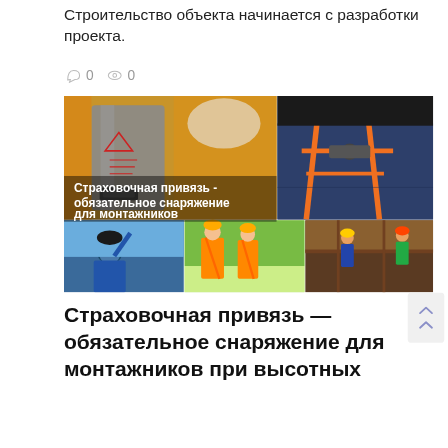Строительство объекта начинается с разработки проекта.
0   0
[Figure (photo): Collage of safety harness images with Russian text overlay: Страховочная привязь - обязательное снаряжение для монтажников]
Страховочная привязь — обязательное снаряжение для монтажников при высотных